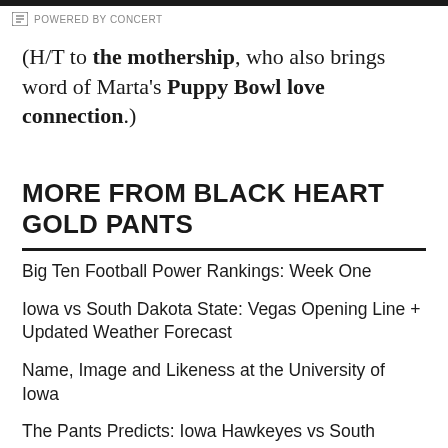POWERED BY CONCERT
(H/T to the mothership, who also brings word of Marta's Puppy Bowl love connection.)
MORE FROM BLACK HEART GOLD PANTS
Big Ten Football Power Rankings: Week One
Iowa vs South Dakota State: Vegas Opening Line + Updated Weather Forecast
Name, Image and Likeness at the University of Iowa
The Pants Predicts: Iowa Hawkeyes vs South Dakota State
Stat to Watch: Jackrabbits Rushing Attack
Iowa Football vs South Dakota State Game Preview